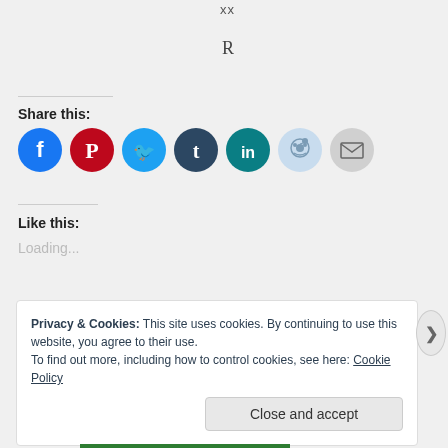xx
R
Share this:
[Figure (infographic): Row of social media sharing icons: Facebook (blue), Pinterest (red), Twitter (light blue), Tumblr (dark blue), LinkedIn (teal), Reddit (light blue), Email (gray)]
Like this:
Loading...
Privacy & Cookies: This site uses cookies. By continuing to use this website, you agree to their use.
To find out more, including how to control cookies, see here: Cookie Policy
Close and accept